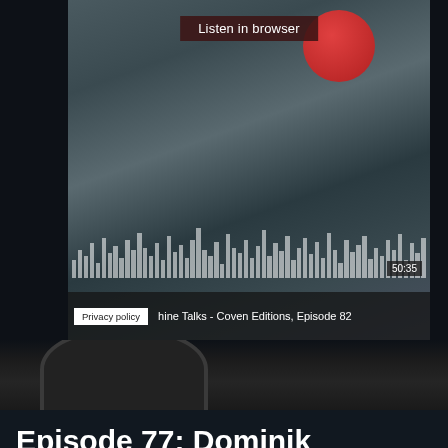[Figure (screenshot): Podcast player screenshot showing an audio mixer and red microphone, with 'Listen in browser' button, waveform display, timestamp 50:35, privacy policy button, and text 'Machine Talks - Coven Editions, Episode 82']
[Figure (photo): Partial image of a microphone stand or audio equipment, dark background]
Episode 77: Dominik Parisien
JUNE 30, 2021  /  ELEANOR  /  SEASON 5  /  COMMENTS OFF